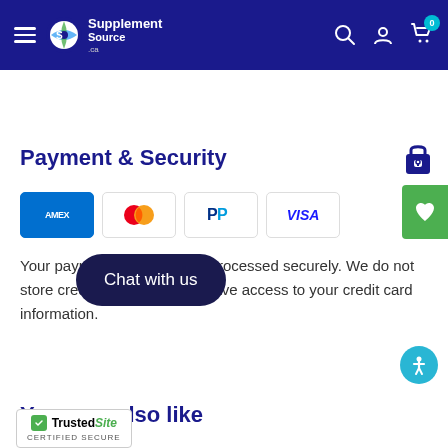SupplementSource.ca navigation bar with hamburger menu, logo, search, account, and cart icons
Payment & Security
[Figure (logo): Payment method icons: American Express, Mastercard, PayPal, Visa]
Your payment information is processed securely. We do not store credit card details nor have access to your credit card information.
You may also like
[Figure (other): Chat with us button overlay]
[Figure (other): TrustedSite CERTIFIED SECURE badge]